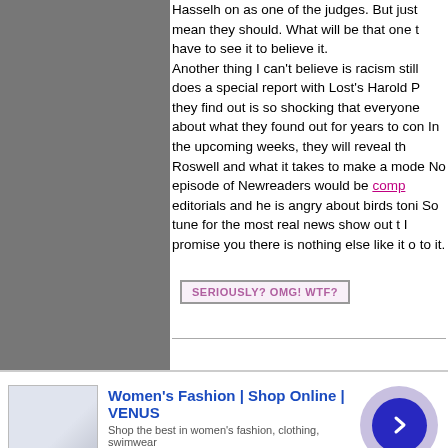[Figure (other): Gray sidebar panel on the left side of the page]
Hasselh on as one of the judges. But just mean they should. What will be that one t have to see it to believe it. Another thing I can't believe is racism still does a special report with Lost's Harold P they find out is so shocking that everyone about what they found out for years to con In the upcoming weeks, they will reveal th Roswell and what it takes to make a mode No episode of Newreaders would be comp editorials and he is angry about birds toni So tune for the most real news show out t I promise you there is nothing else like it o to it.
[Figure (other): SERIOUSLY? OMG! WTF? badge button in pink/purple style]
[Figure (other): Advertisement banner for Women's Fashion | Shop Online | VENUS with thumbnail image and arrow button]